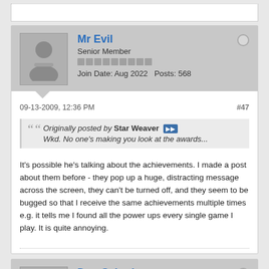Mr Evil
Senior Member
Join Date: Aug 2022   Posts: 568
09-13-2009, 12:36 PM
#47
Originally posted by Star Weaver
Wkd. No one's making you look at the awards...
It's possible he's talking about the achievements. I made a post about them before - they pop up a huge, distracting message across the screen, they can't be turned off, and they seem to be bugged so that I receive the same achievements multiple times e.g. it tells me I found all the power ups every single game I play. It is quite annoying.
Der_Schreiner
Junior Member
Join Date: Aug 2022   Posts: 0